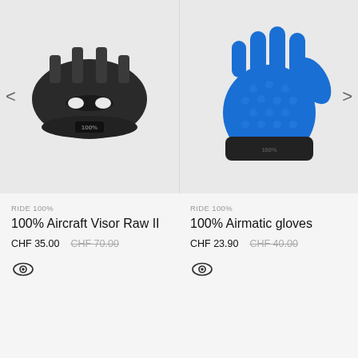[Figure (photo): Black helmet visor/peak accessory for motorcycle helmet, viewed from front, with '100%' logo embossed on it. Product image on light gray background.]
[Figure (photo): Blue motocross/MTB glove with textured grip surface and '100%' logo. Product image on light gray background.]
RIDE 100%
100% Aircraft Visor Raw II
CHF 35.00 CHF 70.00
[Figure (illustration): Eye/view icon (outline eye symbol)]
RIDE 100%
100% Airmatic gloves
CHF 23.90 CHF 40.00
[Figure (illustration): Eye/view icon (outline eye symbol)]